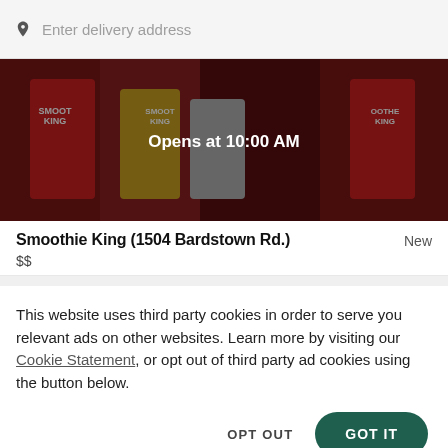Enter delivery address
[Figure (photo): Smoothie King banner image showing branded cups with smoothies, overlaid with 'Opens at 10:00 AM' text and a dark overlay]
Smoothie King (1504 Bardstown Rd.)
New
$$
This website uses third party cookies in order to serve you relevant ads on other websites. Learn more by visiting our Cookie Statement, or opt out of third party ad cookies using the button below.
OPT OUT
GOT IT